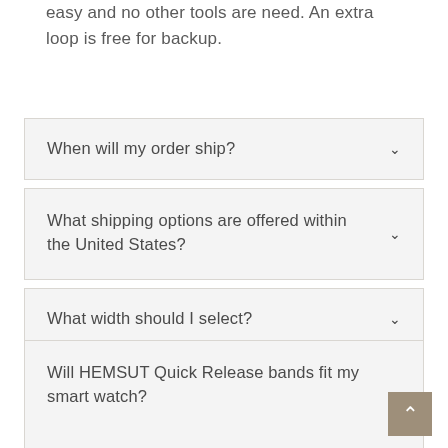easy and no other tools are need. An extra loop is free for backup.
When will my order ship?
What shipping options are offered within the United States?
What width should I select?
Will HEMSUT Quick Release bands fit my smart watch?